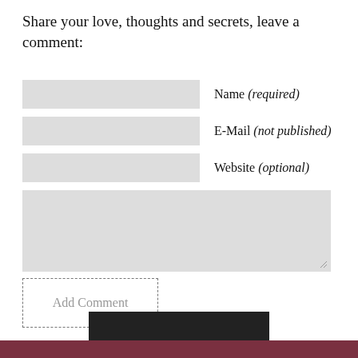Share your love, thoughts and secrets, leave a comment:
Name (required)
E-Mail (not published)
Website (optional)
Add Comment